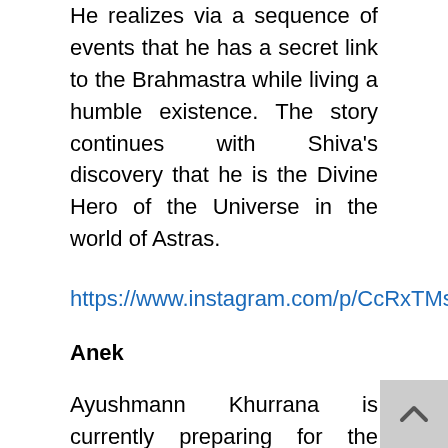He realizes via a sequence of events that he has a secret link to the Brahmastra while living a humble existence. The story continues with Shiva's discovery that he is the Divine Hero of the Universe in the world of Astras.
https://www.instagram.com/p/CcRxTMsPJqk/
Anek
Ayushmann Khurrana is currently preparing for the release of his upcoming and much-awaited film, Anek. Following the critically acclaimed film Article 15, the actor will reunite with director Anubhav Sinha for the upcoming